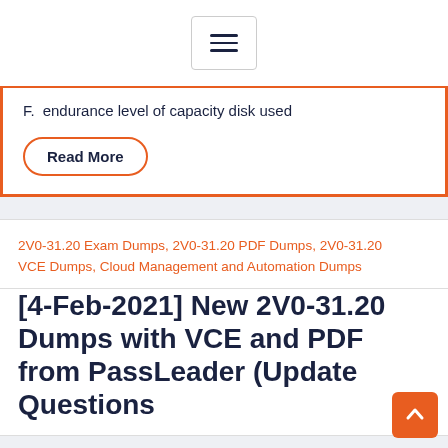☰ (hamburger menu button)
F.  endurance level of capacity disk used
Read More
2V0-31.20 Exam Dumps, 2V0-31.20 PDF Dumps, 2V0-31.20 VCE Dumps, Cloud Management and Automation Dumps
[4-Feb-2021] New 2V0-31.20 Dumps with VCE and PDF from PassLeader (Update Questions